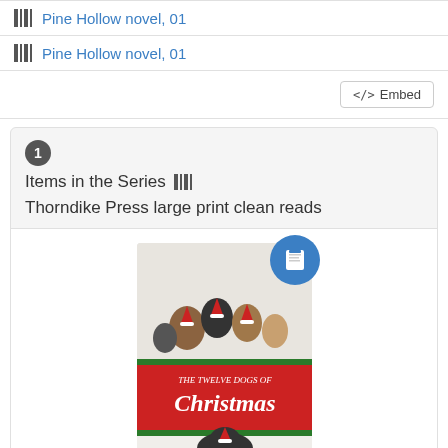Pine Hollow novel, 01
Pine Hollow novel, 01
<> Embed
1 Items in the Series ||| Thorndike Press large print clean reads
[Figure (photo): Book cover of 'The twelve dogs of Christmas' by Lizzie Shane, showing dogs wearing Santa hats]
The twelve dogs of Christmas, Lizzie Shane